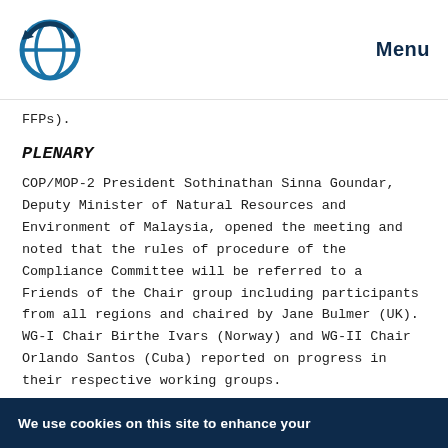Menu
FFPs).
PLENARY
COP/MOP-2 President Sothinathan Sinna Goundar, Deputy Minister of Natural Resources and Environment of Malaysia, opened the meeting and noted that the rules of procedure of the Compliance Committee will be referred to a Friends of the Chair group including participants from all regions and chaired by Jane Bulmer (UK). WG-I Chair Birthe Ivars (Norway) and WG-II Chair Orlando Santos (Cuba) reported on progress in their respective working groups.
We use cookies on this site to enhance your